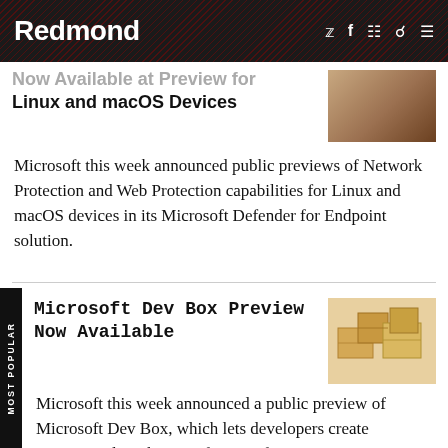Redmond
Now Available at Preview for Linux and macOS Devices
Microsoft this week announced public previews of Network Protection and Web Protection capabilities for Linux and macOS devices in its Microsoft Defender for Endpoint solution.
Microsoft Dev Box Preview Now Available
Microsoft this week announced a public preview of Microsoft Dev Box, which lets developers create provisioned workspaces for specific projects.